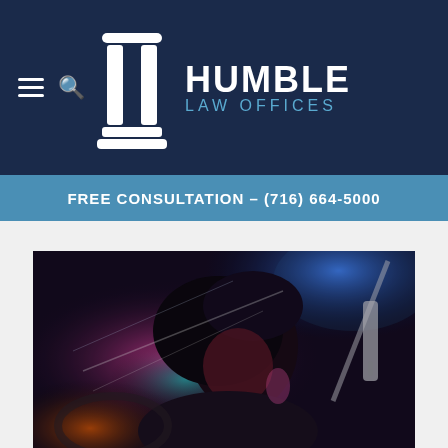Humble Law Offices
FREE CONSULTATION – (716) 664-5000
[Figure (photo): A person with long dark hair sitting inside a car at night, illuminated by colorful red and blue lights, looking distressed or concerned. Law firm related imagery for DUI/accident legal services.]